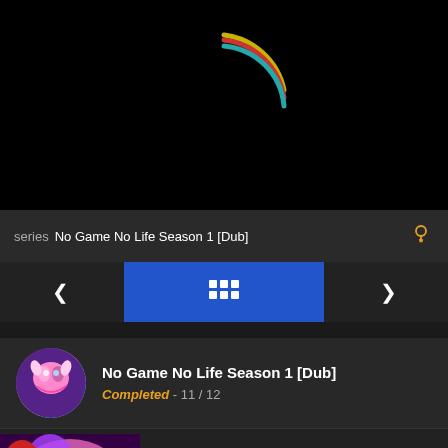[Figure (illustration): Black video player area with a colorful loading spinner (arc rings in yellow/gold, red, and teal/cyan colors)]
series No Game No Life Season 1 [Dub]
[Figure (screenshot): Navigation bar with left arrow, center blue grid/list icon button, right arrow]
[Figure (illustration): Series card with circular avatar thumbnail of No Game No Life anime artwork]
No Game No Life Season 1 [Dub]
Completed - 11 / 12
[Figure (illustration): Episode thumbnail with red chat icon badge overlay]
No Game No Life Season 1 Episode 12 [Dub]
Ep 12 - March 4, 2021